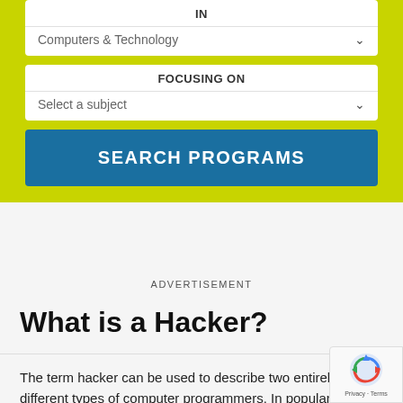IN
Computers & Technology
FOCUSING ON
Select a subject
SEARCH PROGRAMS
ADVERTISEMENT
What is a Hacker?
The term hacker can be used to describe two entirely different types of computer programmers. In popular the term is widely known to describe an expert computer